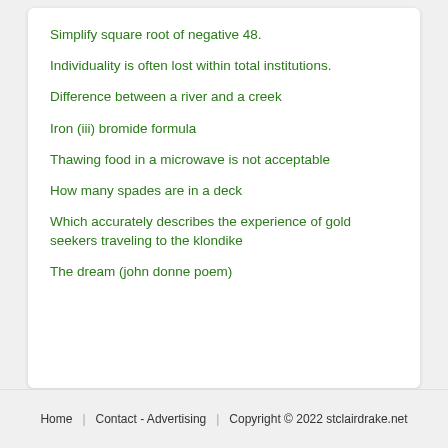Simplify square root of negative 48.
Individuality is often lost within total institutions.
Difference between a river and a creek
Iron (iii) bromide formula
Thawing food in a microwave is not acceptable
How many spades are in a deck
Which accurately describes the experience of gold seekers traveling to the klondike
The dream (john donne poem)
Home   Contact - Advertising   Copyright © 2022 stclairdrake.net